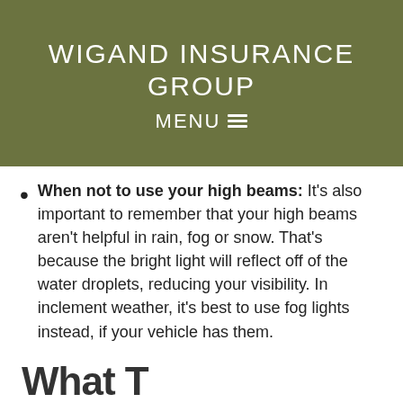WIGAND INSURANCE GROUP
MENU ≡
When not to use your high beams: It's also important to remember that your high beams aren't helpful in rain, fog or snow. That's because the bright light will reflect off of the water droplets, reducing your visibility. In inclement weather, it's best to use fog lights instead, if your vehicle has them.
What T...